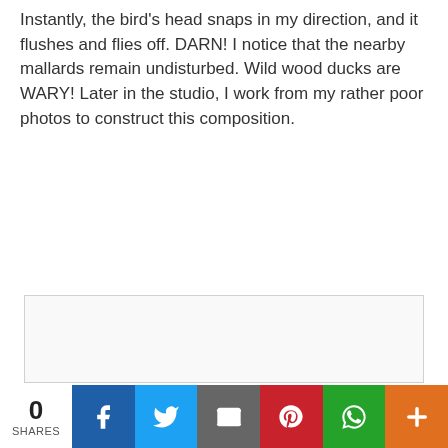Instantly, the bird's head snaps in my direction, and it flushes and flies off. DARN! I notice that the nearby mallards remain undisturbed. Wild wood ducks are WARY! Later in the studio, I work from my rather poor photos to construct this composition.
[Figure (photo): A large white/blank image placeholder rectangle with a light border, representing a photo or artwork composition of a wood duck.]
0 SHARES | Facebook | Twitter | Email | Pinterest | WhatsApp | More